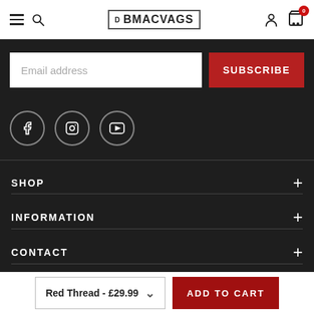BMACVAGS header with hamburger menu, search, logo, user icon, cart (0)
[Figure (screenshot): Email address input field with placeholder text 'Email address']
SUBSCRIBE
[Figure (illustration): Social media icons: Facebook (f), Instagram, YouTube — circular outlines on dark background]
SHOP
INFORMATION
CONTACT
Red Thread - £29.99
ADD TO CART